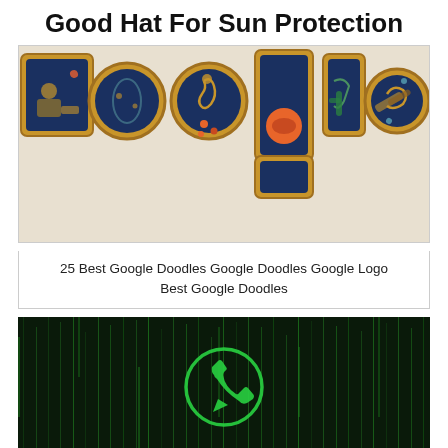Good Hat For Sun Protection
[Figure (photo): Google Doodle image featuring the word 'Google' styled with circular porthole-like windows showing underwater ocean scenes with seahorses, coral, fish, and a diver, set against a dark navy blue background with gold metallic frames.]
25 Best Google Doodles Google Doodles Google Logo Best Google Doodles
[Figure (photo): Dark green background resembling digital Matrix-style rain code with a glowing green WhatsApp logo (phone handset inside a speech bubble circle) in the center.]